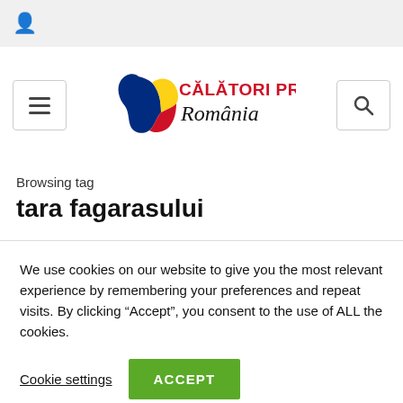User icon
[Figure (logo): Calatori Prin Romania logo with Romanian map outline in blue, yellow, red flag colors and red text 'CALATORI PRIN Romania']
Browsing tag
tara fagarasului
We use cookies on our website to give you the most relevant experience by remembering your preferences and repeat visits. By clicking “Accept”, you consent to the use of ALL the cookies.
Cookie settings   ACCEPT